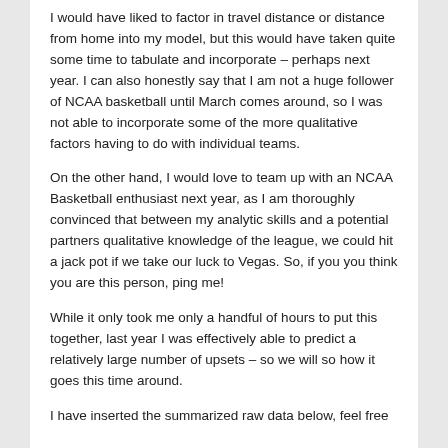I would have liked to factor in travel distance or distance from home into my model, but this would have taken quite some time to tabulate and incorporate – perhaps next year. I can also honestly say that I am not a huge follower of NCAA basketball until March comes around, so I was not able to incorporate some of the more qualitative factors having to do with individual teams.
On the other hand, I would love to team up with an NCAA Basketball enthusiast next year, as I am thoroughly convinced that between my analytic skills and a potential partners qualitative knowledge of the league, we could hit a jack pot if we take our luck to Vegas. So, if you you think you are this person, ping me!
While it only took me only a handful of hours to put this together, last year I was effectively able to predict a relatively large number of upsets – so we will so how it goes this time around.
I have inserted the summarized raw data below, feel free